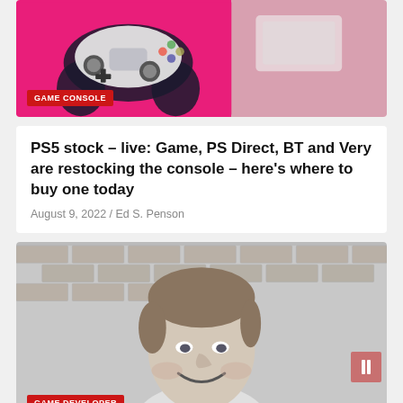[Figure (photo): Game console (PS5 controller) image with pink/magenta background, labeled GAME CONSOLE]
GAME CONSOLE
PS5 stock – live: Game, PS Direct, BT and Very are restocking the console – here's where to buy one today
August 9, 2022 / Ed S. Penson
[Figure (photo): Black and white portrait photo of a smiling middle-aged man, labeled GAME DEVELOPER]
GAME DEVELOPER